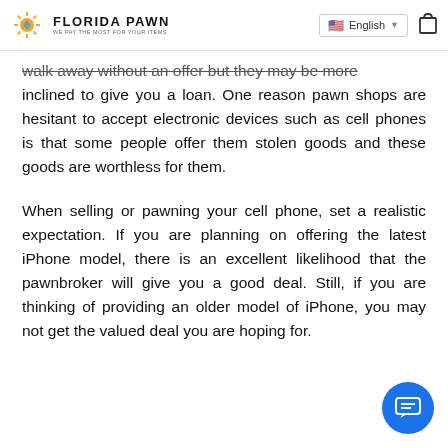FLORIDA PAWN — WE PAY THE MOST FOR YOUR ITEMS | English
walk away without an offer but they may be more inclined to give you a loan. One reason pawn shops are hesitant to accept electronic devices such as cell phones is that some people offer them stolen goods and these goods are worthless for them.
When selling or pawning your cell phone, set a realistic expectation. If you are planning on offering the latest iPhone model, there is an excellent likelihood that the pawnbroker will give you a good deal. Still, if you are thinking of providing an older model of iPhone, you may not get the valued deal you are hoping for.